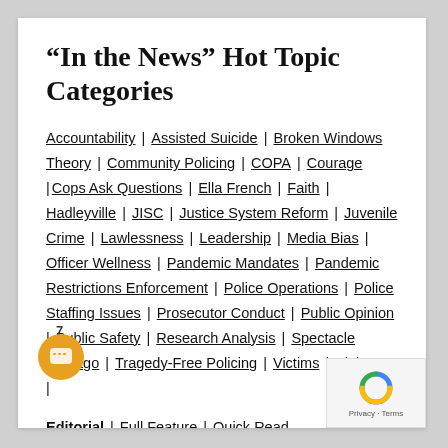“In the News” Hot Topic Categories
Accountability | Assisted Suicide | Broken Windows Theory | Community Policing | COPA | Courage | Cops Ask Questions | Ella French | Faith | Hadleyville | JISC | Justice System Reform | Juvenile Crime | Lawlessness | Leadership | Media Bias | Officer Wellness | Pandemic Mandates | Pandemic Restrictions Enforcement | Police Operations | Police Staffing Issues | Prosecutor Conduct | Public Opinion | Public Safety | Research Analysis | Spectacle Chicago | Tragedy-Free Policing | Victims | Violence |
Editorial | Full Feature | Quick Read
Research Review | Recommended Resource